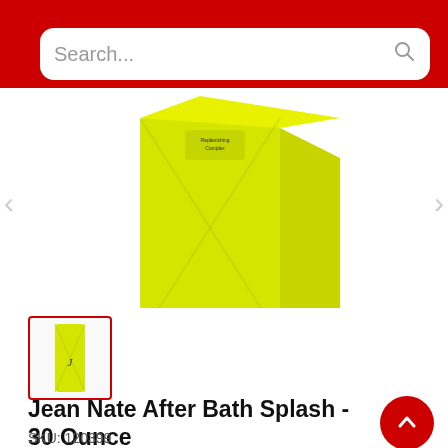[Figure (screenshot): E-commerce product page screenshot showing a red header with search bar, yellow product box image, thumbnail, product title, SKU, and brand name]
Search...
[Figure (photo): Yellow Jean Nate After Bath Splash 30 Ounce product box]
tap or pinch to zoom
Jean Nate After Bath Splash - 30 Ounce
SKU: 120399
Revlon